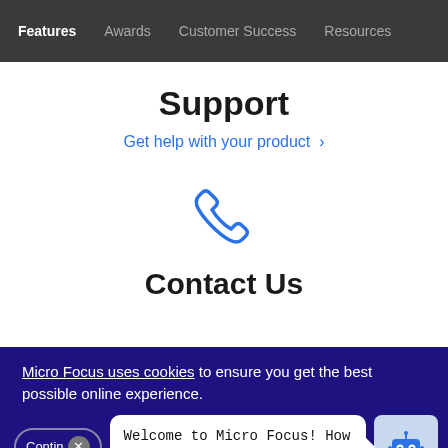Features  Awards  Customer Success  Resources
Support
Get help with your product ›
[Figure (illustration): Blue phone/telephone handset icon]
Contact Us
Micro Focus uses cookies to ensure you get the best possible online experience.
Welcome to Micro Focus! How can I help you?